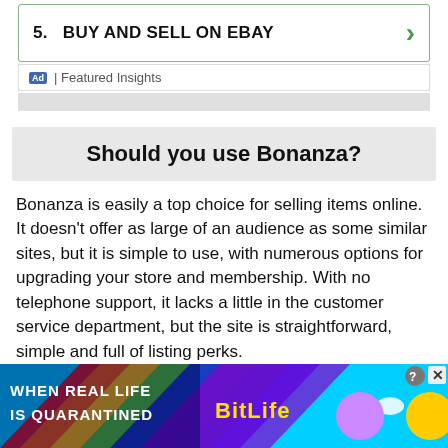5.   BUY AND SELL ON EBAY
Ad | Featured Insights
Should you use Bonanza?
Bonanza is easily a top choice for selling items online. It doesn't offer as large of an audience as some similar sites, but it is simple to use, with numerous options for upgrading your store and membership. With no telephone support, it lacks a little in the customer service department, but the site is straightforward, simple and full of listing perks.
[Figure (infographic): Bottom advertisement banner for BitLife app with rainbow background, 'WHEN REAL LIFE IS QUARANTINED' text and BitLife logo]